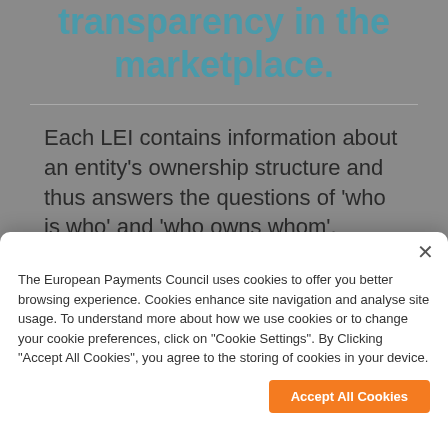transparency in the marketplace.
Each LEI contains information about an entity's ownership structure and thus answers the questions of 'who is who' and 'who owns whom'.
The European Payments Council uses cookies to offer you better browsing experience. Cookies enhance site navigation and analyse site usage. To understand more about how we use cookies or to change your cookie preferences, click on "Cookie Settings". By Clicking "Accept All Cookies", you agree to the storing of cookies in your device.